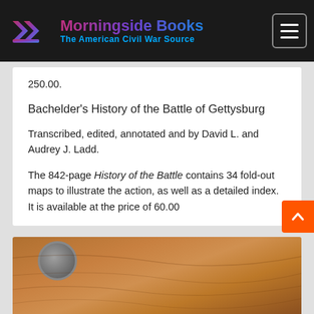Morningside Books — The American Civil War Source
250.00.
Bachelder's History of the Battle of Gettysburg
Transcribed, edited, annotated and by David L. and Audrey J. Ladd.
The 842-page History of the Battle contains 34 fold-out maps to illustrate the action, as well as a detailed index. It is available at the price of 60.00
[Figure (photo): Photograph of a coin or medallion on a wooden surface]